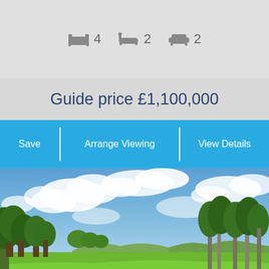4  2  2
Guide price £1,100,000
Save
Arrange Viewing
View Details
[Figure (photo): Countryside landscape with green lawn, trees, wooden fence, hills in background and blue sky with clouds]